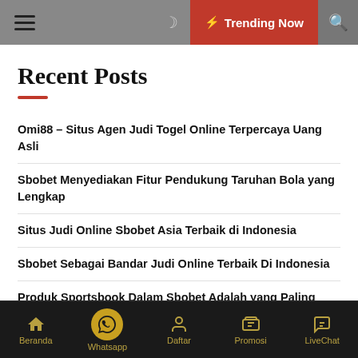Trending Now
Recent Posts
Omi88 – Situs Agen Judi Togel Online Terpercaya Uang Asli
Sbobet Menyediakan Fitur Pendukung Taruhan Bola yang Lengkap
Situs Judi Online Sbobet Asia Terbaik di Indonesia
Sbobet Sebagai Bandar Judi Online Terbaik Di Indonesia
Produk Sportsbook Dalam Sbobet Adalah yang Paling
Beranda  Whatsapp  Daftar  Promosi  LiveChat